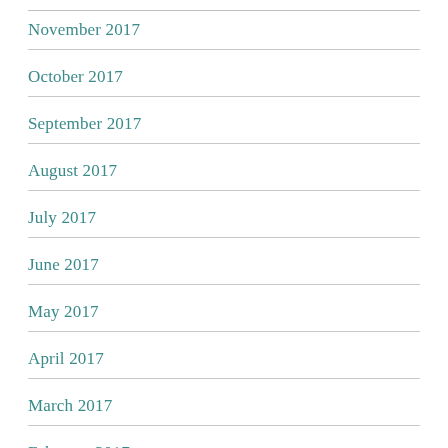November 2017
October 2017
September 2017
August 2017
July 2017
June 2017
May 2017
April 2017
March 2017
February 2017